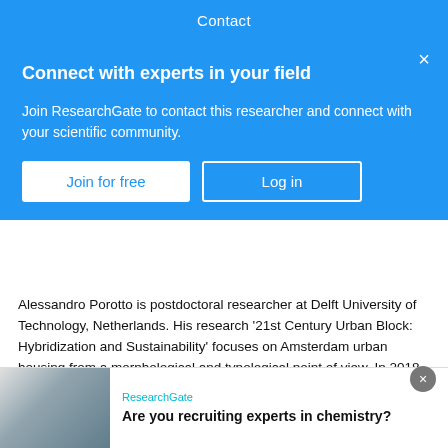Contact
Connect with experts in your field
Join ResearchGate to contact this researcher and connect with your scientific community.
Alessandro Porotto is postdoctoral researcher at Delft University of Technology, Netherlands. His research '21st Century Urban Block: Hybridization and Sustainability' focuses on Amsterdam urban housing from a morphological and typological point of view. In 2018, he obtained his PhD at the EPFL, Switzerland. He was postdoctoral researcher at UCLouvain, Belgium (2020-2022) and was visiting postdoctoral researcher at the Emory University in Atlanta, USA (Spring 2020 Semester).
Advertisement
ResearchGate
Are you recruiting experts in chemistry?